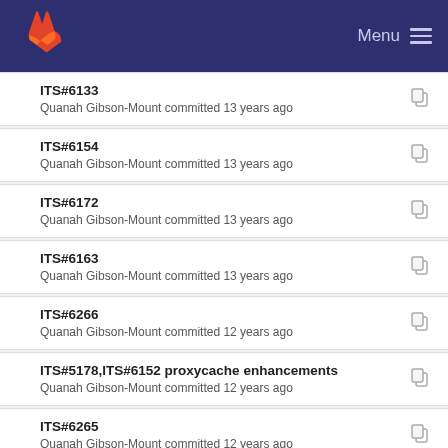GitLab Menu
ITS#6133
Quanah Gibson-Mount committed 13 years ago
ITS#6154
Quanah Gibson-Mount committed 13 years ago
ITS#6172
Quanah Gibson-Mount committed 13 years ago
ITS#6163
Quanah Gibson-Mount committed 13 years ago
ITS#6266
Quanah Gibson-Mount committed 12 years ago
ITS#5178,ITS#6152 proxycache enhancements
Quanah Gibson-Mount committed 12 years ago
ITS#6265
Quanah Gibson-Mount committed 12 years ago
ITS#6254
Quanah Gibson-Mount committed 12 years ago